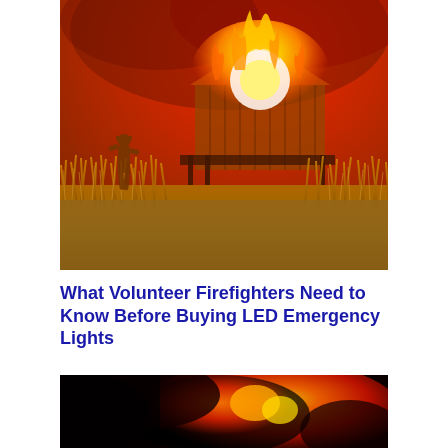[Figure (photo): A firefighter silhouette stands in a field of tall golden grass at left, while a wooden structure is fully engulfed in bright orange and yellow flames against a red-orange smoky sky. The scene is dramatic with intense fire and warm tones throughout.]
What Volunteer Firefighters Need to Know Before Buying LED Emergency Lights
[Figure (photo): Close-up abstract image of fire with deep red, orange, and black tones. Flames and embers visible in a dark scene.]